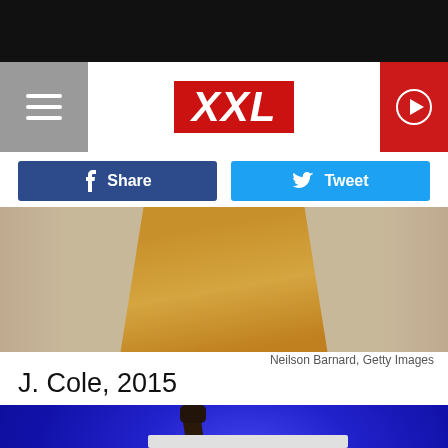[Figure (screenshot): Top black navigation bar of mobile app]
[Figure (logo): XXL magazine logo in red with white text, hamburger menu on left, play button on right]
[Figure (infographic): Facebook Share button (dark blue) and Twitter Tweet button (light blue) side by side]
[Figure (photo): Partial photo of person wearing a mustard/tan colored shirt, background is beige]
Neilson Barnard, Getty Images
J. Cole, 2015
[Figure (photo): Person on stage with arm raised holding a microphone against blue stage lighting background, with a light gray card/banner below]